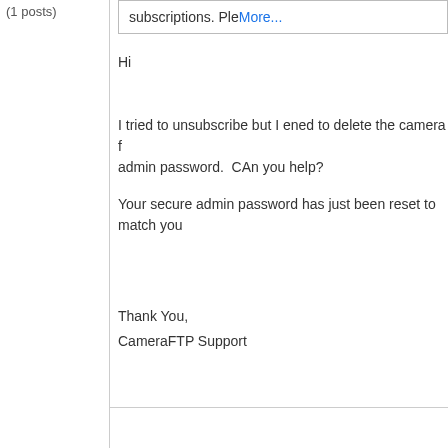(1 posts)
subscriptions. PleMore...
Hi
I tried to unsubscribe but I ened to delete the camera f admin password.  CAn you help?
Your secure admin password has just been reset to match you
Thank You,
CameraFTP Support